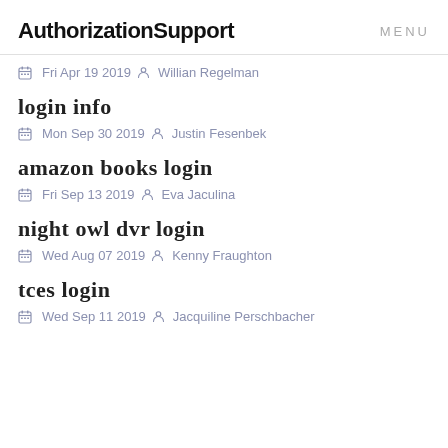AuthorizationSupport  MENU
Fri Apr 19 2019  Willian Regelman
login info
Mon Sep 30 2019  Justin Fesenbek
amazon books login
Fri Sep 13 2019  Eva Jaculina
night owl dvr login
Wed Aug 07 2019  Kenny Fraughton
tces login
Wed Sep 11 2019  Jacquiline Perschbacher